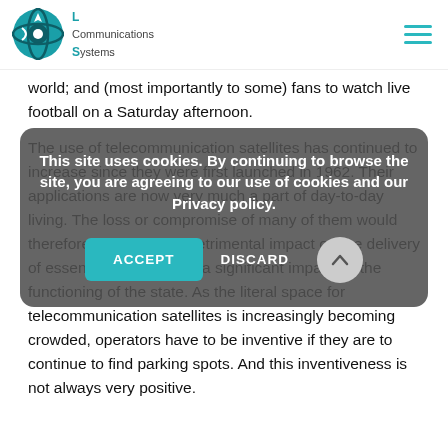Link Communications Systems
world; and (most importantly to some) fans to watch live football on a Saturday afternoon.
The use of telecommunication satellites has continued to increase since they were first launched in 1962. Their applications are now very much a part of day-to-day living. The loss or compromise of many of them would therefore have a major detrimental impact on the delivery of essential services and a significant impact on the functioning of the state. As the literal space for telecommunication satellites is increasingly becoming crowded, operators have to be inventive if they are to continue to find parking spots. And this inventiveness is not always very positive.
This site uses cookies. By continuing to browse the site, you are agreeing to our use of cookies and our Privacy policy.
ACCEPT   DISCARD